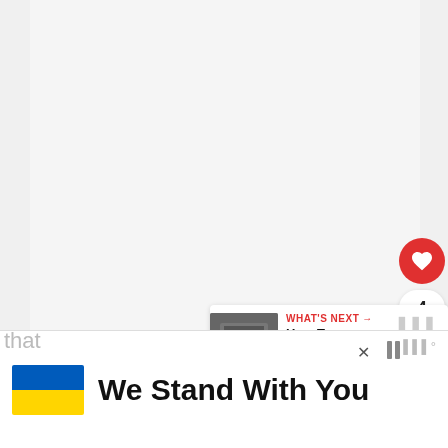[Figure (screenshot): Large light gray empty content area representing a webpage or video player area]
[Figure (infographic): Red circular heart/like button with white heart icon, count badge showing '4', and white circular share button with share icon]
[Figure (infographic): What's Next card showing thumbnail image with label 'WHAT'S NEXT →' and title 'How To Diagnose an...']
[Figure (infographic): Advertisement banner with Ukrainian flag (blue and yellow), bold text 'We Stand With You', close X button, and pause icon]